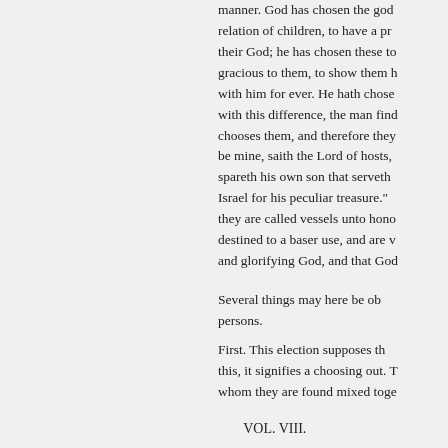manner. God has chosen the god relation of children, to have a p their God; he has chosen these t gracious to them, to show them with him for ever. He hath chos with this difference, the man fin chooses them, and therefore the be mine, saith the Lord of hosts spareth his own son that serveth Israel for his peculiar treasure." they are called vessels unto hon destined to a baser use, and are and glorifying God, and that Go
Several things may here be ob persons.
First. This election supposes t this, it signifies a choosing out. whom they are found mixed toge
VOL. VIII.
« Previous